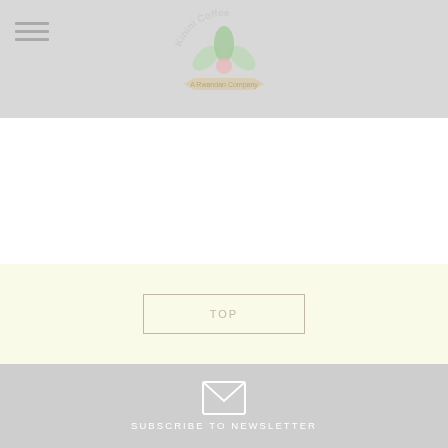[Figure (logo): Kinini Coffee brand logo with stylized coffee plant leaves and coffee cherry, arched text reading 'Kinini Coffee' and banner below]
TOP
SUBSCRIBE TO NEWSLETTER